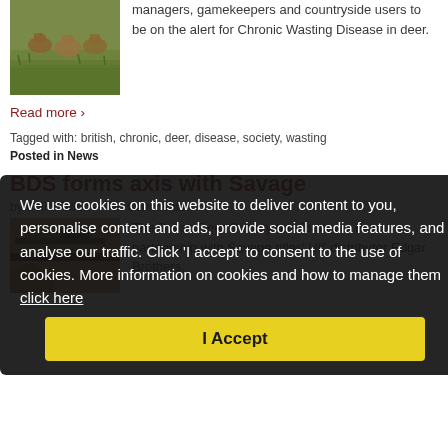[Figure (photo): A group of deer standing in a grassy field]
managers, gamekeepers and countryside users to be on the alert for Chronic Wasting Disease in deer.
Read more ›
Tagged with: british, chronic, deer, disease, society, wasting
Posted in News
BDS forms axis with Savage
by Colin Fallon — No Comments ↓
[Figure (photo): Photograph showing rifle equipment]
The British Deer Society has formed a new partnership with Savage rifles' UK distributor Edgar Brothers.
We use cookies on this website to deliver content to you, personalise content and ads, provide social media features, and analyse our traffic. Click 'I accept' to consent to the use of cookies. More information on cookies and how to manage them click here
I Accept